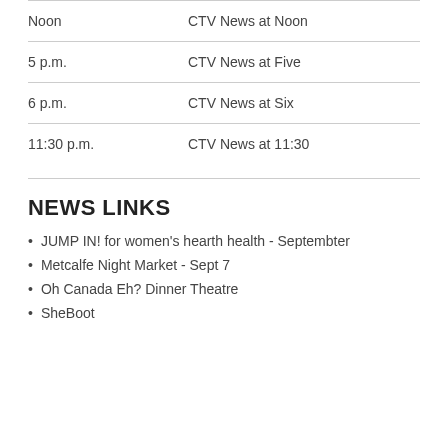| Time | Show |
| --- | --- |
| Noon | CTV News at Noon |
| 5 p.m. | CTV News at Five |
| 6 p.m. | CTV News at Six |
| 11:30 p.m. | CTV News at 11:30 |
NEWS LINKS
JUMP IN! for women's hearth health - Septembter
Metcalfe Night Market - Sept 7
Oh Canada Eh? Dinner Theatre
SheBoot